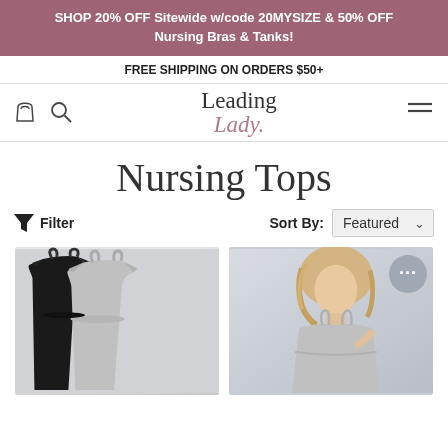SHOP 20% OFF Sitewide w/code 20MYSIZE & 50% OFF Nursing Bras & Tanks!
FREE SHIPPING ON ORDERS $50+
[Figure (logo): Leading Lady logo with serif font, 'Lady' in italic mauve color]
Nursing Tops
Filter  Sort By: Featured
[Figure (photo): Two nursing tops product images: left shows black and gray camisole tops, right shows a blonde model wearing a gray nursing camisole with a chat bubble overlay]